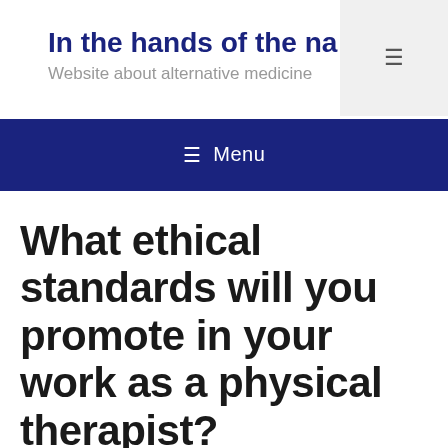In the hands of the na
Website about alternative medicine
≡ Menu
What ethical standards will you promote in your work as a physical therapist?